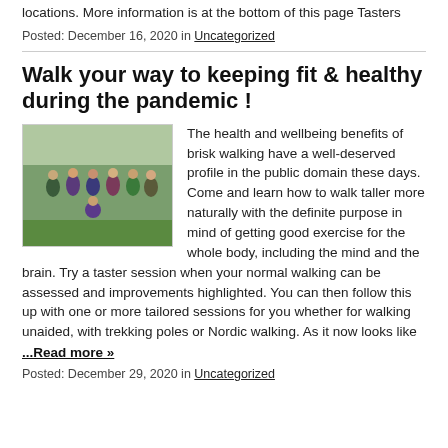locations. More information is at the bottom of this page Tasters
Posted: December 16, 2020 in Uncategorized
Walk your way to keeping fit & healthy during the pandemic !
[Figure (photo): Group of people standing outdoors on grass, posing for a walking group photo]
The health and wellbeing benefits of brisk walking have a well-deserved profile in the public domain these days. Come and learn how to walk taller more naturally with the definite purpose in mind of getting good exercise for the whole body, including the mind and the brain. Try a taster session when your normal walking can be assessed and improvements highlighted. You can then follow this up with one or more tailored sessions for you whether for walking unaided, with trekking poles or Nordic walking. As it now looks like
...Read more »
Posted: December 29, 2020 in Uncategorized